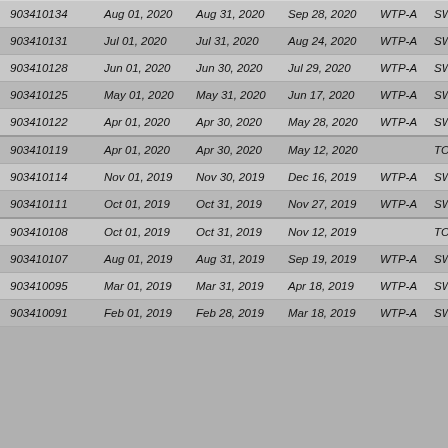| ID | Date1 | Date2 | Date3 | Loc | Type | Mo |
| --- | --- | --- | --- | --- | --- | --- |
| 903410134 | Aug 01, 2020 | Aug 31, 2020 | Sep 28, 2020 | WTP-A | SWTR | Mo |
| 903410131 | Jul 01, 2020 | Jul 31, 2020 | Aug 24, 2020 | WTP-A | SWTR | Mo |
| 903410128 | Jun 01, 2020 | Jun 30, 2020 | Jul 29, 2020 | WTP-A | SWTR | Mo |
| 903410125 | May 01, 2020 | May 31, 2020 | Jun 17, 2020 | WTP-A | SWTR | Mo |
| 903410122 | Apr 01, 2020 | Apr 30, 2020 | May 28, 2020 | WTP-A | SWTR | Mo |
| 903410119 | Apr 01, 2020 | Apr 30, 2020 | May 12, 2020 |  | TCR | Ro |
| 903410114 | Nov 01, 2019 | Nov 30, 2019 | Dec 16, 2019 | WTP-A | SWTR | Mo |
| 903410111 | Oct 01, 2019 | Oct 31, 2019 | Nov 27, 2019 | WTP-A | SWTR | Mo |
| 903410108 | Oct 01, 2019 | Oct 31, 2019 | Nov 12, 2019 |  | TCR | Ro |
| 903410107 | Aug 01, 2019 | Aug 31, 2019 | Sep 19, 2019 | WTP-A | SWTR | Mo |
| 903410095 | Mar 01, 2019 | Mar 31, 2019 | Apr 18, 2019 | WTP-A | SWTR | Mo |
| 903410091 | Feb 01, 2019 | Feb 28, 2019 | Mar 18, 2019 | WTP-A | SWTR | Mo |